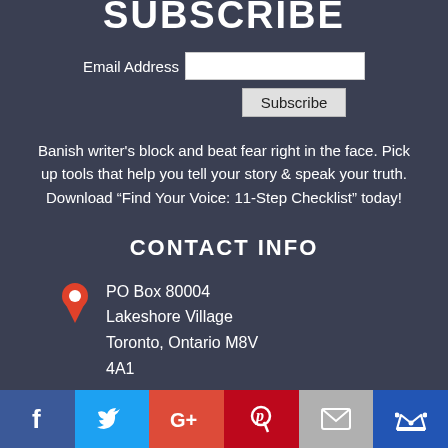SUBSCRIBE
Email Address [input field] Subscribe
Banish writer’s block and beat fear right in the face. Pick up tools that help you tell your story & speak your truth. Download “Find Your Voice: 11-Step Checklist” today!
CONTACT INFO
PO Box 80004
Lakeshore Village
Toronto, Ontario M8V 4A1
[Figure (infographic): Social media bar with icons for Facebook, Twitter, Google+, Pinterest, Email, and Crown/other]